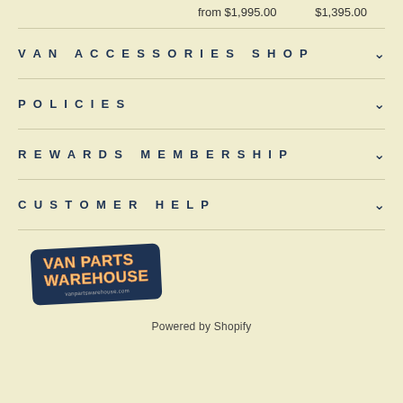from $1,995.00    $1,395.00
VAN ACCESSORIES SHOP
POLICIES
REWARDS MEMBERSHIP
CUSTOMER HELP
[Figure (logo): Van Parts Warehouse logo — dark navy rounded rectangle badge with yellow bold text reading VAN PARTS WAREHOUSE, rotated slightly]
Powered by Shopify